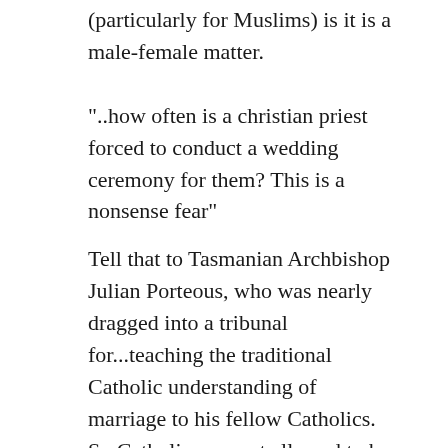(particularly for Muslims) is it is a male-female matter.
"..how often is a christian priest forced to conduct a wedding ceremony for them? This is a nonsense fear"
Tell that to Tasmanian Archbishop Julian Porteous, who was nearly dragged into a tribunal for...teaching the traditional Catholic understanding of marriage to his fellow Catholics. So Catholics are not allowed to be Catholics...
"..by discriminating against them in the public sphere (“sorry, this shop is